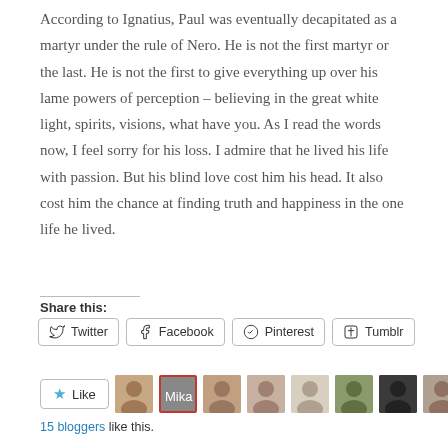According to Ignatius, Paul was eventually decapitated as a martyr under the rule of Nero. He is not the first martyr or the last. He is not the first to give everything up over his lame powers of perception – believing in the great white light, spirits, visions, what have you. As I read the words now, I feel sorry for his loss. I admire that he lived his life with passion. But his blind love cost him his head. It also cost him the chance at finding truth and happiness in the one life he lived.
Share this:
Twitter
Facebook
Pinterest
Tumblr
Like
15 bloggers like this.